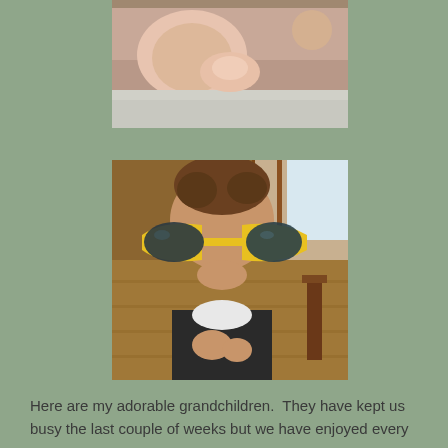[Figure (photo): Partial view of a baby lying down, pink skin visible, on a carpet/bed surface]
[Figure (photo): Young toddler/baby wearing oversized yellow-framed sunglasses, sitting on a wood floor indoors, looking at camera]
Here are my adorable grandchildren.  They have kept us busy the last couple of weeks but we have enjoyed every